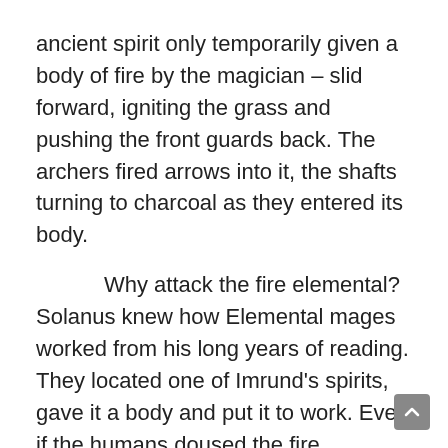ancient spirit only temporarily given a body of fire by the magician – slid forward, igniting the grass and pushing the front guards back. The archers fired arrows into it, the shafts turning to charcoal as they entered its body.
Why attack the fire elemental? Solanus knew how Elemental mages worked from his long years of reading. They located one of Imrund's spirits, gave it a body and put it to work. Even if the humans doused the fire elemental with water the mage would only summon another.